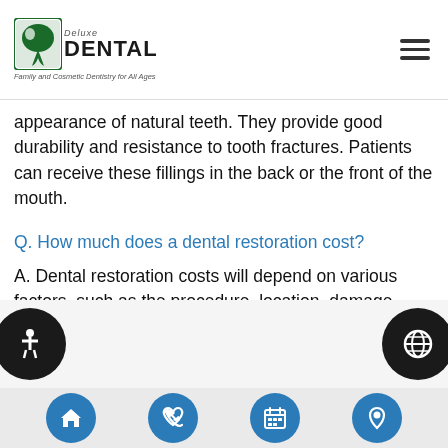Deluxe Dental — Family and Cosmetic Dentistry for All Ages
appearance of natural teeth. They provide good durability and resistance to tooth fractures. Patients can receive these fillings in the back or the front of the mouth.
Q. How much does a dental restoration cost?
A. Dental restoration costs will depend on various factors, such as the procedure, location, damage extent, and the patient's insurance provider. Every insurance plan is different. Patients should contact their insurance provider before seeking restoration treatment.
Navigation: Home, Phone, Calendar, Location